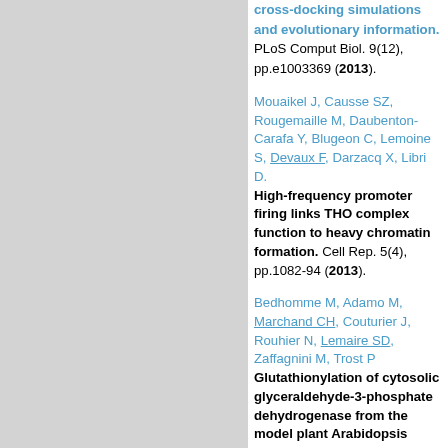cross-docking simulations and evolutionary information. PLoS Comput Biol. 9(12), pp.e1003369 (2013).
Mouaikel J, Causse SZ, Rougemaille M, Daubenton-Carafa Y, Blugeon C, Lemoine S, Devaux F, Darzacq X, Libri D. High-frequency promoter firing links THO complex function to heavy chromatin formation. Cell Rep. 5(4), pp.1082-94 (2013).
Bedhomme M, Adamo M, Marchand CH, Couturier J, Rouhier N, Lemaire SD, Zaffagnini M, Trost P Glutathionylation of cytosolic glyceraldehyde-3-phosphate dehydrogenase from the model plant Arabidopsis thaliana is reversed by both glutaredoxins and thioredoxins in vitro. (2012)
Zaffagnini M, Bedhomme M, Marchand CH, Couturier JR, Gao XH, Rouhier N, Trost P, Lemaire SD. Glutaredoxin s12: unique properties for redox signaling. Antioxid Redox Signal. 16, pp.17-32 (2012).